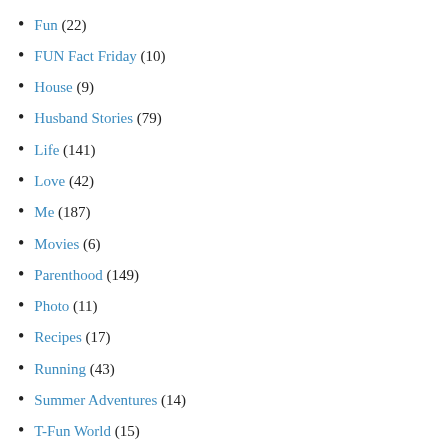Fun (22)
FUN Fact Friday (10)
House (9)
Husband Stories (79)
Life (141)
Love (42)
Me (187)
Movies (6)
Parenthood (149)
Photo (11)
Recipes (17)
Running (43)
Summer Adventures (14)
T-Fun World (15)
Travel (31)
TV (10)